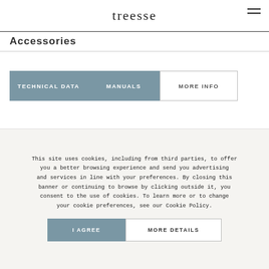treesse
Accessories
TECHNICAL DATA   MANUALS   MORE INFO
This site uses cookies, including from third parties, to offer you a better browsing experience and send you advertising and services in line with your preferences. By closing this banner or continuing to browse by clicking outside it, you consent to the use of cookies. To learn more or to change your cookie preferences, see our Cookie Policy.
I AGREE   MORE DETAILS